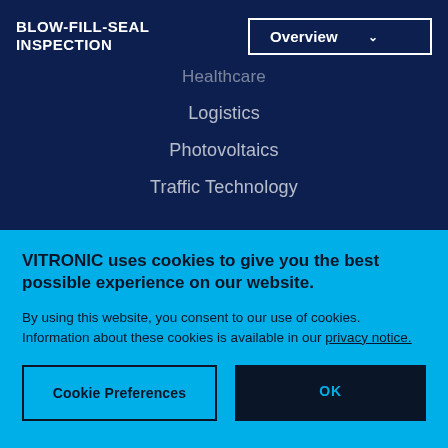BLOW-FILL-SEAL INSPECTION
Healthcare
Logistics
Photovoltaics
Traffic Technology
VITRONIC uses cookies to give you the best possible experience on our website.
By using this website, you consent to our use of cookies. Information about these cookies is available in our privacy notice.